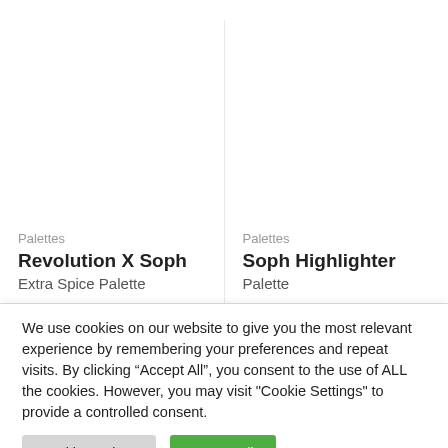Palettes
Revolution X Soph Extra Spice Palette
Palettes
Soph Highlighter Palette
We use cookies on our website to give you the most relevant experience by remembering your preferences and repeat visits. By clicking “Accept All”, you consent to the use of ALL the cookies. However, you may visit "Cookie Settings" to provide a controlled consent.
Cookie Settings
Accept All